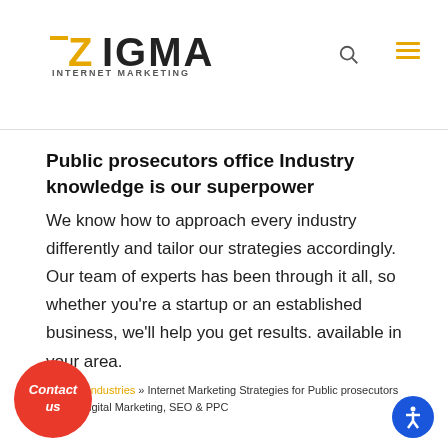ZIGMA INTERNET MARKETING
Public prosecutors office Industry knowledge is our superpower
We know how to approach every industry differently and tailor our strategies accordingly. Our team of experts has been through it all, so whether you're a startup or an established business, we'll help you get results. available in your area.
Home » Industries » Internet Marketing Strategies for Public prosecutors office | Digital Marketing, SEO & PPC